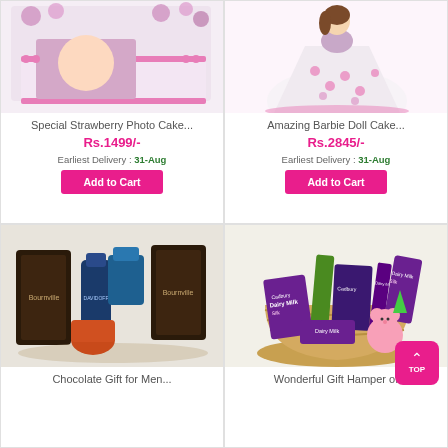[Figure (photo): Special Strawberry Photo Cake with a baby photo on it, purple/pink frosting border]
Special Strawberry Photo Cake...
Rs.1499/-
Earliest Delivery : 31-Aug
Add to Cart
[Figure (photo): Amazing Barbie Doll Cake shaped like a princess doll in pink and white dress]
Amazing Barbie Doll Cake...
Rs.2845/-
Earliest Delivery : 31-Aug
Add to Cart
[Figure (photo): Chocolate Gift for Men with Cadbury Bournville chocolates and Davidson Cool Water cologne]
Chocolate Gift for Men...
[Figure (photo): Wonderful Gift Hamper of Cadbury Dairy Milk Silk chocolates and a pink teddy bear in a basket]
Wonderful Gift Hamper of